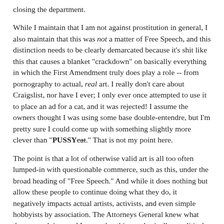closing the department.
While I maintain that I am not against prostitution in general, I also maintain that this was not a matter of Free Speech, and this distinction needs to be clearly demarcated because it's shit like this that causes a blanket "crackdown" on basically everything in which the First Amendment truly does play a role -- from pornography to actual, real art. I really don't care about Craigslist, nor have I ever; I only ever once attempted to use it to place an ad for a cat, and it was rejected! I assume the owners thought I was using some base double-entendre, but I'm pretty sure I could come up with something slightly more clever than "PUSSYcat." That is not my point here.
The point is that a lot of otherwise valid art is all too often lumped-in with questionable commerce, such as this, under the broad heading of "Free Speech." And while it does nothing but allow these people to continue doing what they do, it negatively impacts actual artists, activists, and even simple hobbyists by association. The Attorneys General knew what they were doing, and I agree that this was basically a political ploy designed to make them look tough on crime in an election year, but I'm not going to pretend that